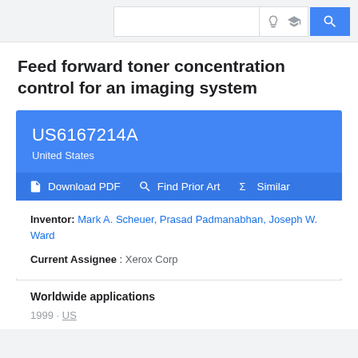Google Patents search bar header
Feed forward toner concentration control for an imaging system
US6167214A
United States
Download PDF  Find Prior Art  Similar
Inventor: Mark A. Scheuer, Prasad Padmanabhan, Joseph W. Ward
Current Assignee : Xerox Corp
Worldwide applications
1999 · US